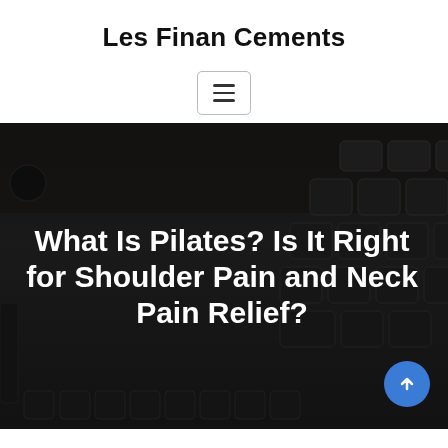Les Finan Cements
[Figure (screenshot): Hamburger menu button with three horizontal lines inside a rounded rectangle border]
[Figure (photo): Dark background image showing a keyboard on a wooden desk, with a large bold white title overlay: What Is Pilates? Is It Right for Shoulder Pain and Neck Pain Relief? A blue circular scroll-up button is at the bottom right.]